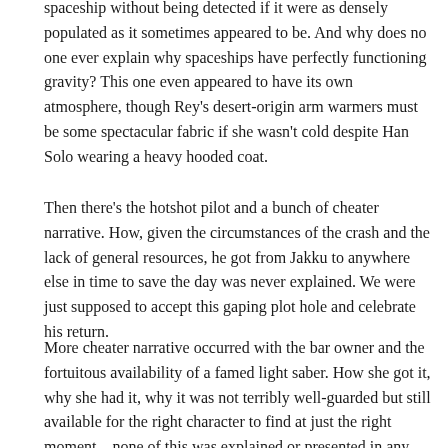spaceship without being detected if it were as densely populated as it sometimes appeared to be. And why does no one ever explain why spaceships have perfectly functioning gravity? This one even appeared to have its own atmosphere, though Rey's desert-origin arm warmers must be some spectacular fabric if she wasn't cold despite Han Solo wearing a heavy hooded coat.
Then there's the hotshot pilot and a bunch of cheater narrative. How, given the circumstances of the crash and the lack of general resources, he got from Jakku to anywhere else in time to save the day was never explained. We were just supposed to accept this gaping plot hole and celebrate his return.
More cheater narrative occurred with the bar owner and the fortuitous availability of a famed light saber. How she got it, why she had it, why it was not terribly well-guarded but still available for the right character to find at just the right moment…none of this was explained or presented in any way that would be believable